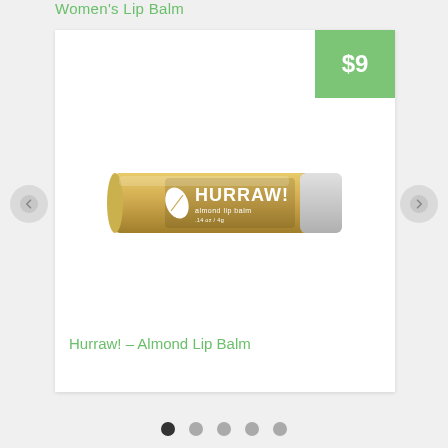Women's Lip Balm
[Figure (photo): Hurraw! Almond Lip Balm tube product photo on white card background with green $9 price badge in top right corner]
Hurraw! – Almond Lip Balm